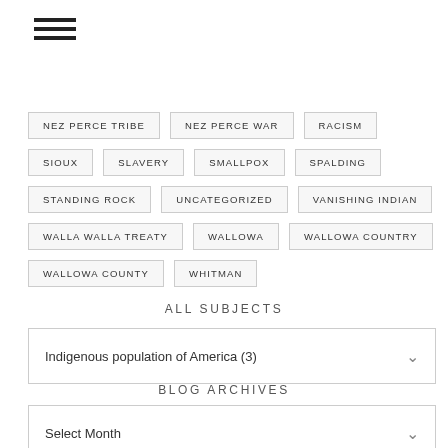[Figure (other): Hamburger menu icon — three horizontal lines]
NEZ PERCE TRIBE
NEZ PERCE WAR
RACISM
SIOUX
SLAVERY
SMALLPOX
SPALDING
STANDING ROCK
UNCATEGORIZED
VANISHING INDIAN
WALLA WALLA TREATY
WALLOWA
WALLOWA COUNTRY
WALLOWA COUNTY
WHITMAN
ALL SUBJECTS
Indigenous population of America  (3)
BLOG ARCHIVES
Select Month